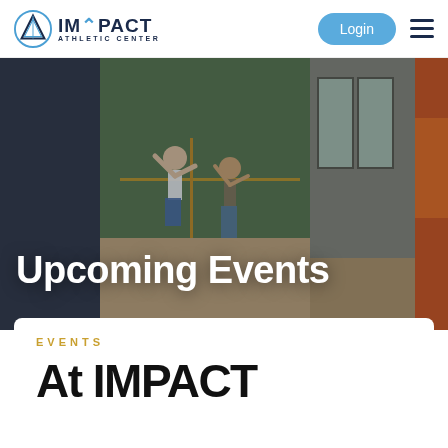[Figure (logo): Impact Athletic Center logo with mountain/triangle SVG icon and text]
Login
[Figure (photo): Collage hero banner showing beach volleyball players mid-action, indoor gym with large windows, and red/orange abstract light effect]
Upcoming Events
EVENTS
At IMPACT